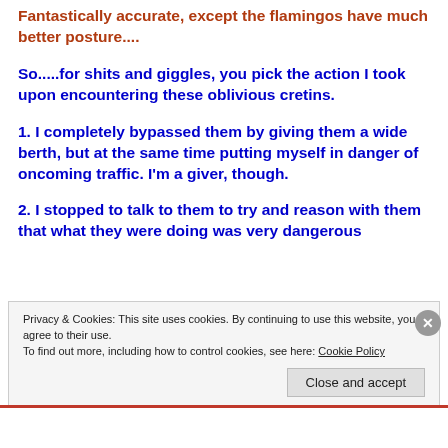Fantastically accurate, except the flamingos have much better posture....
So.....for shits and giggles, you pick the action I took upon encountering these oblivious cretins.
1. I completely bypassed them by giving them a wide berth, but at the same time putting myself in danger of oncoming traffic. I'm a giver, though.
2. I stopped to talk to them to try and reason with them that what they were doing was very dangerous
Privacy & Cookies: This site uses cookies. By continuing to use this website, you agree to their use.
To find out more, including how to control cookies, see here: Cookie Policy
Close and accept